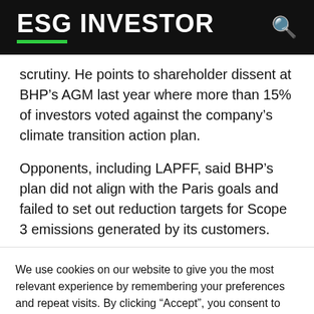ESG INVESTOR
scrutiny. He points to shareholder dissent at BHP’s AGM last year where more than 15% of investors voted against the company’s climate transition action plan.
Opponents, including LAPFF, said BHP’s plan did not align with the Paris goals and failed to set out reduction targets for Scope 3 emissions generated by its customers.
We use cookies on our website to give you the most relevant experience by remembering your preferences and repeat visits. By clicking “Accept”, you consent to the use of ALL the cookies.
Cookie settings   ACCEPT